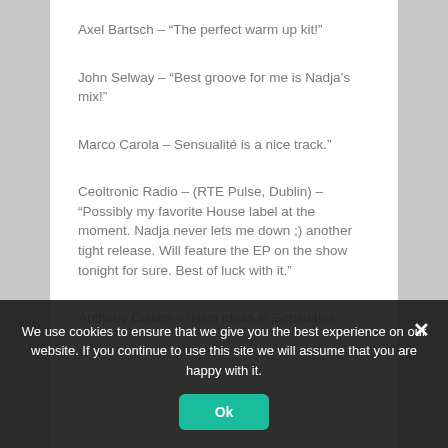Axel Bartsch – “The perfect warm up kit!”
John Selway – “Best groove for me is Nadja’s mix!”
Marco Carola – Sensualité is a nice track.”
Ceoltronic Radio – (RTE Pulse, Dublin) – “Possibly my favorite House label at the moment. Nadja never lets me down ;) another tight release. Will feature the EP on the show tonight for sure. Best of luck with it.”
Anthony Collins – “Nice ideas in Sensualité.”
We use cookies to ensure that we give you the best experience on our website. If you continue to use this site we will assume that you are happy with it.